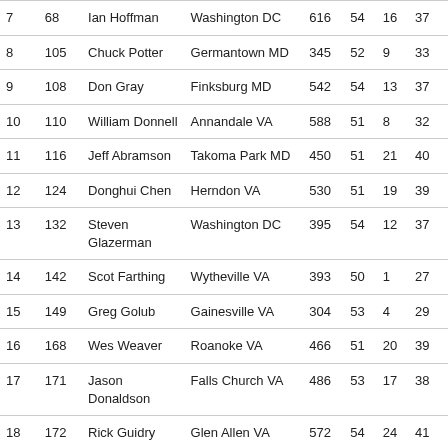| 7 | 68 | Ian Hoffman | Washington DC | 616 | 54 | 16 | 37 |
| 8 | 105 | Chuck Potter | Germantown MD | 345 | 52 | 9 | 33 |
| 9 | 108 | Don Gray | Finksburg MD | 542 | 54 | 13 | 37 |
| 10 | 110 | William Donnell | Annandale VA | 588 | 51 | 8 | 32 |
| 11 | 116 | Jeff Abramson | Takoma Park MD | 450 | 51 | 21 | 40 |
| 12 | 124 | Donghui Chen | Herndon VA | 530 | 51 | 19 | 39 |
| 13 | 132 | Steven Glazerman | Washington DC | 395 | 54 | 12 | 37 |
| 14 | 142 | Scot Farthing | Wytheville VA | 393 | 50 | 1 | 27 |
| 15 | 149 | Greg Golub | Gainesville VA | 304 | 53 | 4 | 29 |
| 16 | 168 | Wes Weaver | Roanoke VA | 466 | 51 | 20 | 39 |
| 17 | 171 | Jason Donaldson | Falls Church VA | 486 | 53 | 17 | 38 |
| 18 | 172 | Rick Guidry | Glen Allen VA | 572 | 54 | 24 | 41 |